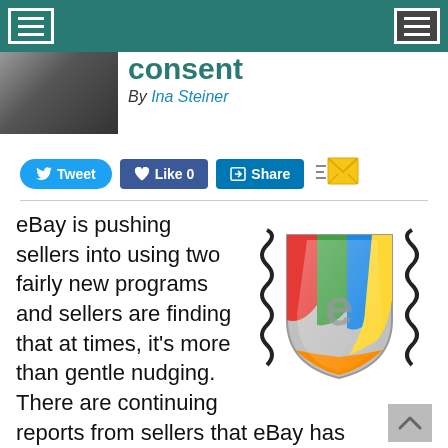consent
By Ina Steiner
[Figure (illustration): Social sharing buttons: Tweet, Like 0, Share, and email icon]
[Figure (illustration): eBay-themed shield logo with colorful segments and springs, used as article illustration]
eBay is pushing sellers into using two fairly new programs and sellers are finding that at times, it's more than gentle nudging. There are continuing reports from sellers that eBay has